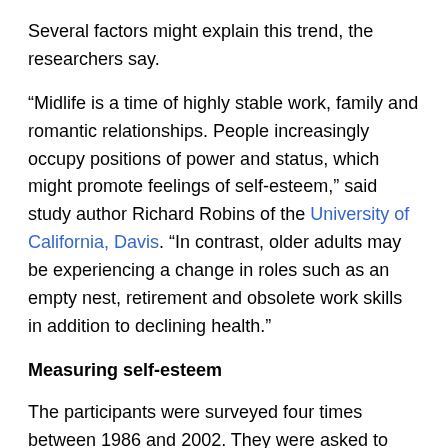Several factors might explain this trend, the researchers say.
“Midlife is a time of highly stable work, family and romantic relationships. People increasingly occupy positions of power and status, which might promote feelings of self-esteem,” said study author Richard Robins of the University of California, Davis. “In contrast, older adults may be experiencing a change in roles such as an empty nest, retirement and obsolete work skills in addition to declining health.”
Measuring self-esteem
The participants were surveyed four times between 1986 and 2002. They were asked to rate their level of agreement with statements such as: “I take a positive attitude toward